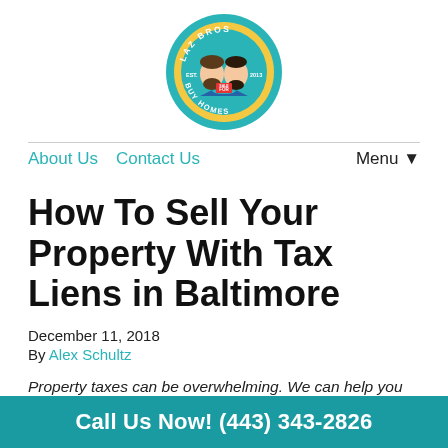[Figure (logo): Laz Bros Buy Homes circular logo with cartoon illustration of two men, teal/yellow color scheme, EST. 2013]
About Us   Contact Us   Menu ▼
How To Sell Your Property With Tax Liens in Baltimore
December 11, 2018
By Alex Schultz
Property taxes can be overwhelming. We can help you sell your property with tax liens in Baltimore so you can move on with your life! Learn more about how to do it in our bl...
Call Us Now! (443) 343-2826